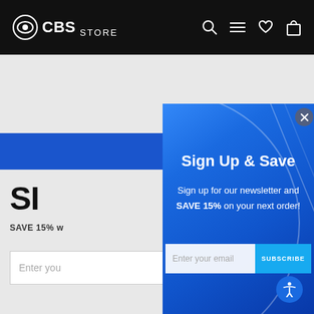CBS STORE — navigation bar with logo, search, menu, wishlist, and cart icons
[Figure (screenshot): CBS Store website popup modal with blue gradient background showing 'Sign Up & Save' newsletter subscription offer with 15% discount, email input field, and SUBSCRIBE button]
Sign Up & Save
Sign up for our newsletter and SAVE 15% on your next order!